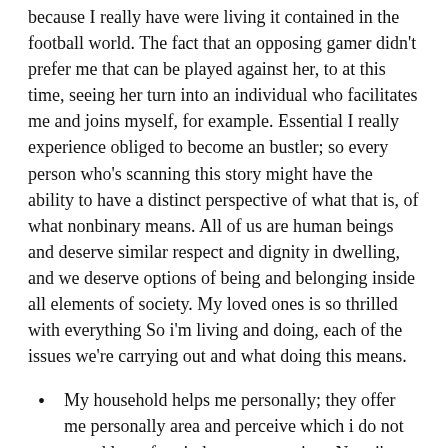because I really have were living it contained in the football world. The fact that an opposing gamer didn't prefer me that can be played against her, to at this time, seeing her turn into an individual who facilitates me and joins myself, for example. Essential I really experience obliged to become an bustler; so every person who's scanning this story might have the ability to have a distinct perspective of what that is, of what nonbinary means. All of us are human beings and deserve similar respect and dignity in dwelling, and we deserve options of being and belonging inside all elements of society. My loved ones is so thrilled with everything So i'm living and doing, each of the issues we're carrying out and what doing this means.
My household helps me personally; they offer me personally area and perceive which i do not spend lots of period at property since Now i'm